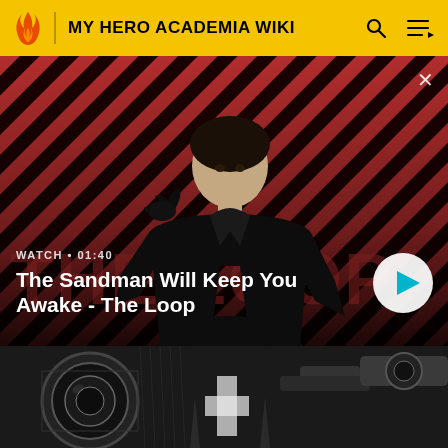MY HERO ACADEMIA WIKI
[Figure (screenshot): Video promo banner with dark-haired man in black coat with a raven on shoulder, against red diagonal striped background. Text shows WATCH • 01:40 and title 'The Sandman Will Keep You Awake - The Loop' with a play button.]
WATCH • 01:40
The Sandman Will Keep You Awake - The Loop
[Figure (illustration): Black and white manga-style illustration showing large mechanical/cannon equipment with a figure in a coat.]